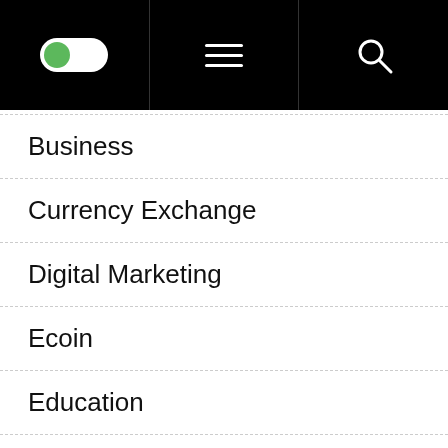Navigation bar with toggle switch, menu icon, and search icon
Business
Currency Exchange
Digital Marketing
Ecoin
Education
Entertainment